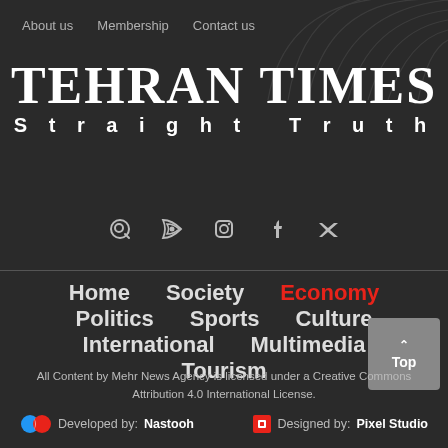About us  Membership  Contact us
TEHRAN TIMES
Straight Truth
[Figure (infographic): Social media icons row: search, RSS, Instagram, Facebook, Twitter]
Home
Society
Economy
Politics
Sports
Culture
International
Multimedia
Tourism
All Content by Mehr News Agency is licensed under a Creative Commons Attribution 4.0 International License.
Developed by: Nastooh  Designed by: Pixel Studio